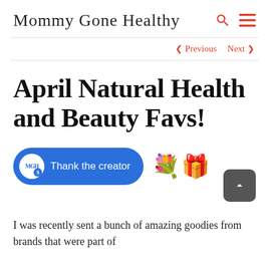Mommy Gone Healthy
< Previous   Next >
April Natural Health and Beauty Favs!
[Figure (infographic): Blue pill-shaped 'Thank the creator' button with MGH$ badge, beside flower and gift emoji icons, and a grey scroll-to-top arrow button.]
I was recently sent a bunch of amazing goodies from brands that were part of